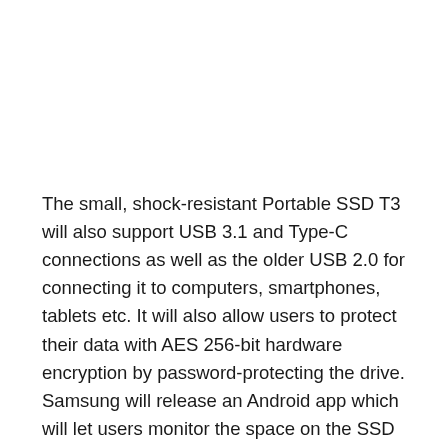The small, shock-resistant Portable SSD T3 will also support USB 3.1 and Type-C connections as well as the older USB 2.0 for connecting it to computers, smartphones, tablets etc. It will also allow users to protect their data with AES 256-bit hardware encryption by password-protecting the drive. Samsung will release an Android app which will let users monitor the space on the SSD as well as change passwords.